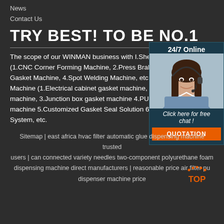News
Contact Us
TRY BEST! TO BE NO.1
The scope of our WINMAN business with I.Sheet Me (1.CNC Corner Forming Machine, 2.Press Brake Mac Gasket Machine, 4.Spot Welding Machine, etc.) II.PU Machine (1.Electrical cabinet gasket machine, 2.Air f machine, 3.Junction box gasket machine 4.PU gasket machine 5.Customized Gasket Seal Solution 6.Robot System, etc.
[Figure (photo): Customer service representative woman wearing headset, with 24/7 Online text and Click here for free chat text and QUOTATION button]
Sitemap | east africa hvac filter automatic glue dispensing machine trusted users | can connected variety needles two-component polyurethane foam dispensing machine direct manufacturers | reasonable price air filter pu dispenser machine price